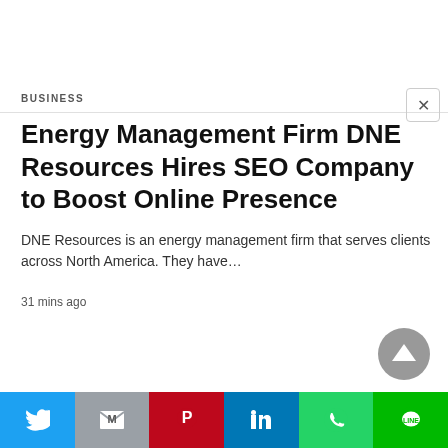BUSINESS
Energy Management Firm DNE Resources Hires SEO Company to Boost Online Presence
DNE Resources is an energy management firm that serves clients across North America. They have…
31 mins ago
[Figure (other): Social sharing bar with Twitter, Gmail, Pinterest, LinkedIn, WhatsApp, and LINE buttons]